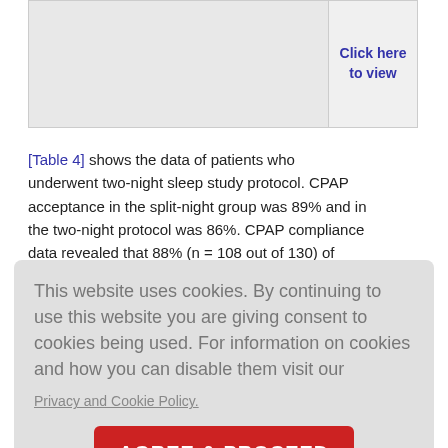[Figure (other): Gray placeholder image area at top left]
Click here to view
[Table 4] shows the data of patients who underwent two-night sleep study protocol. CPAP acceptance in the split-night group was 89% and in the two-night protocol was 86%. CPAP compliance data revealed that 88% (n = 108 out of 130) of patients who underwent
This website uses cookies. By continuing to use this website you are giving consent to cookies being used. For information on cookies and how you can disable them visit our
Privacy and Cookie Policy.
AGREE & PROCEED
| Attrition mode | 16 (8-41) (2 La. ye) | 54 (41) (52-7) |
| Successful CPAP titration* | 100 (77) | 54 (60) |
|  | (77-100) | (46-2009) |
protocol and